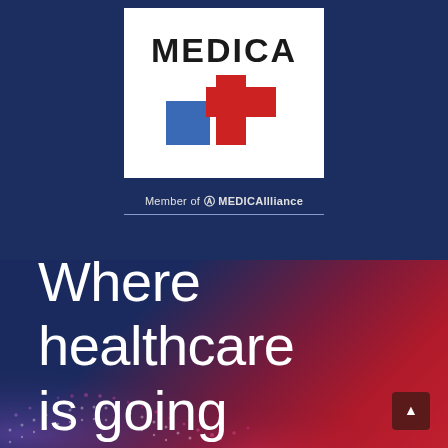[Figure (logo): MEDICA logo — bold black MEDICA text above a white square containing a blue rectangle and red cross/plus shape. Below: 'Member of MEDICAIlliance' with a circular emblem icon.]
Where healthcare is going